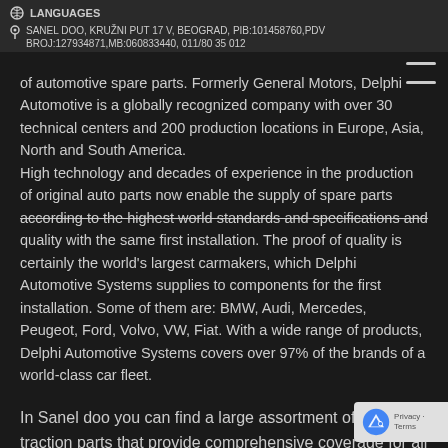LANGUAGES
SANEL DOO, KRUŽNI PUT 17 V, BEOGRAD, PIB:101458760,PDV
BROJ:127934871,MB:060833440, 011/80 35 012
of automotive spare parts. Formerly General Motors, Delphi Automotive is a globally recognized company with over 30 technical centers and 200 production locations in Europe, Asia, North and South America.
High technology and decades of experience in the production of original auto parts now enable the supply of spare parts according to the highest world standards and specifications and quality with the same first installation. The proof of quality is certainly the world's largest carmakers, which Delphi Automotive Systems supplies to components for the first installation. Some of them are: BMW, Audi, Mercedes, Peugeot, Ford, Volvo, VW, Fiat. With a wide range of products, Delphi Automotive Systems covers over 97% of the brands of a world-class car fleet.
In Sanel doo you can find a large assortment of Delphi traction parts that provide comprehensive coverage for all major European and Japanese models of cars. The current Eur range contains over 2000 catalog numbers, including Spo,